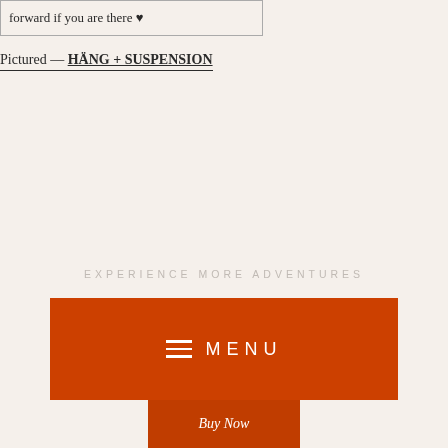forward if you are there ♥
Pictured — HÄNG + SUSPENSION
EXPERIENCE MORE ADVENTURES
BUY NOW
MENU
Buy Now